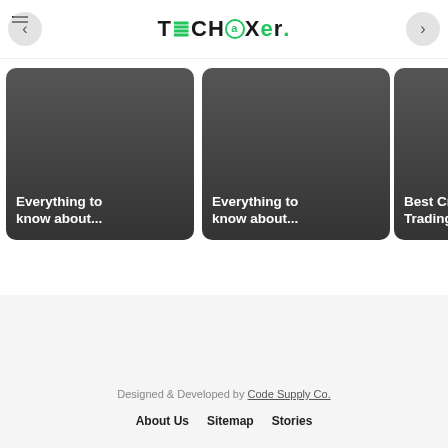TECHaXer.
[Figure (screenshot): Carousel of article cards with dark gradient backgrounds. Card 1: 'Everything to know about...', Card 2: 'Everything to know about...', Card 3 (partial): 'Best Cry Trading...']
Designed & Developed by Code Supply Co. | About Us | Sitemap | Stories